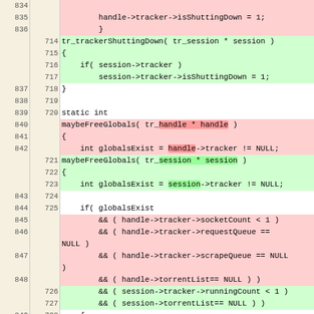[Figure (screenshot): Diff view of source code showing two versions side by side with line numbers. Left column shows old line numbers, right column shows new line numbers, colored rows indicate added (green) or removed (red) lines. Code relates to tracker shutdown and maybeFreeGlobals functions in C.]